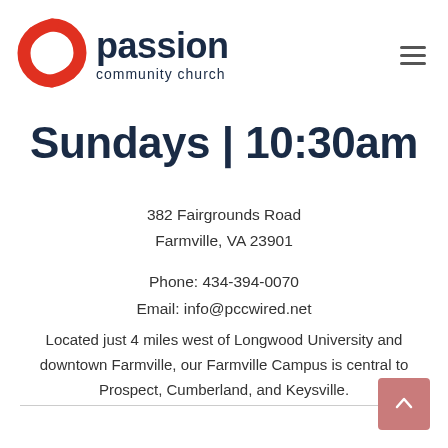[Figure (logo): Passion Community Church logo with red swirl icon and dark navy text]
Sundays | 10:30am
382 Fairgrounds Road
Farmville, VA 23901
Phone: 434-394-0070
Email: info@pccwired.net
Located just 4 miles west of Longwood University and downtown Farmville, our Farmville Campus is central to Prospect, Cumberland, and Keysville.